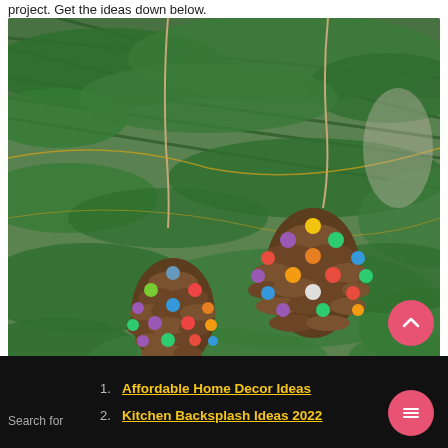project. Get the ideas down below.
[Figure (photo): Two pine cones decorated with colorful pom-poms hanging on a Christmas tree with green branches and twine strings.]
1. Affordable Home Decor Ideas
2. Kitchen Backsplash Ideas 2022